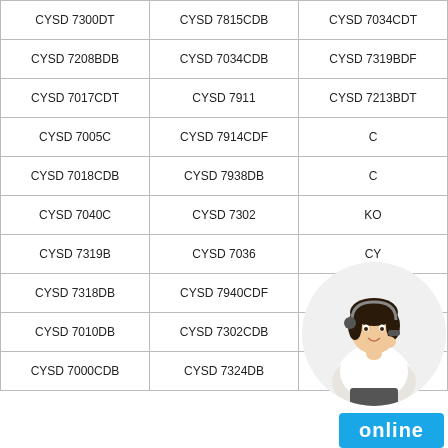| CYSD 7300DT | CYSD 7815CDB | CYSD 7034CDT |
| CYSD 7208BDB | CYSD 7034CDB | CYSD 7319BDF |
| CYSD 7017CDT | CYSD 7911 | CYSD 7213BDT |
| CYSD 7005C | CYSD 7914CDF | C[obscured] |
| CYSD 7018CDB | CYSD 7938DB | C[obscured] |
| CYSD 7040C | CYSD 7302 | KO[obscured] |
| CYSD 7319B | CYSD 7036 | CY[obscured] |
| CYSD 7318DB | CYSD 7940CDF | CYSD 7204DB |
| CYSD 7010DB | CYSD 7302CDB | CYSD 7210B |
| CYSD 7000CDB | CYSD 7324DB | KOYO 7036DF |
[Figure (photo): Woman with headset (customer service), circular crop, with cyan 'online' button below]